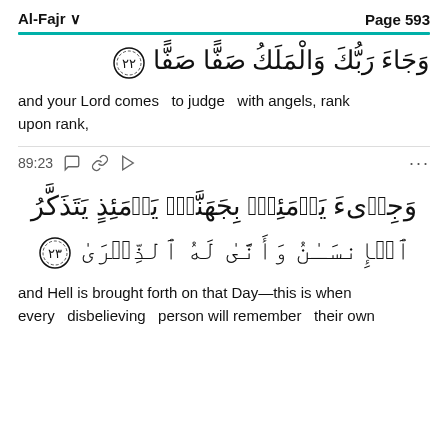Al-Fajr   Page 593
وَجَاءَ رَبُّكَ وَالْمَلَكُ صَفًّا صَفًّا ۞۲۲
and your Lord comes   to judge   with angels, rank upon rank,
89:23
وَجِاۤىءَ يَوۡمَئِذٍۭ بِجَهَنَّمَۚ يَوۡمَئِذٍ يَتَذَكَّرُ ٱلۡإِنسَـٰنُ وَأَنَّىٰ لَهُ ٱلذِّكۡرَىٰ ۞۲۳
and Hell is brought forth on that Day—this is when every   disbelieving   person will remember   their own